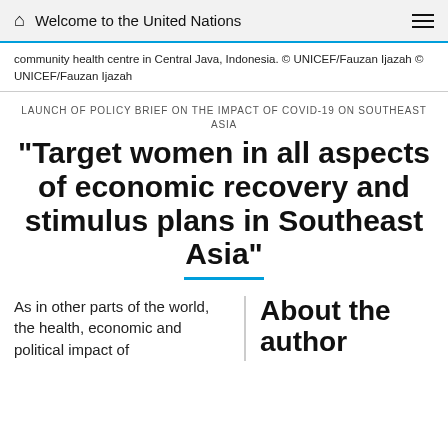Welcome to the United Nations
community health centre in Central Java, Indonesia. © UNICEF/Fauzan Ijazah © UNICEF/Fauzan Ijazah
LAUNCH OF POLICY BRIEF ON THE IMPACT OF COVID-19 ON SOUTHEAST ASIA
"Target women in all aspects of economic recovery and stimulus plans in Southeast Asia"
As in other parts of the world, the health, economic and political impact of
About the author